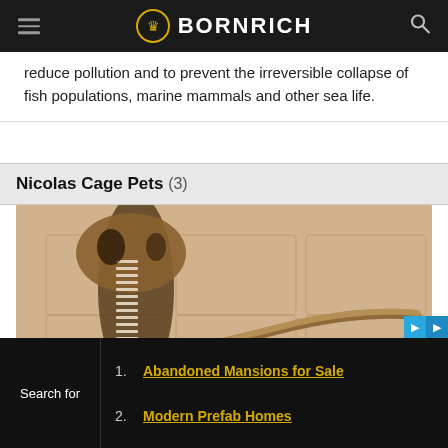BORNRICH
reduce pollution and to prevent the irreversible collapse of fish populations, marine mammals and other sea life.
Nicolas Cage Pets (3)
[Figure (photo): A cobra snake rearing up with hood spread, coiled on a stone/tile surface, brown and tan coloring]
1. Abandoned Mansions for Sale
2. Modern Prefab Homes